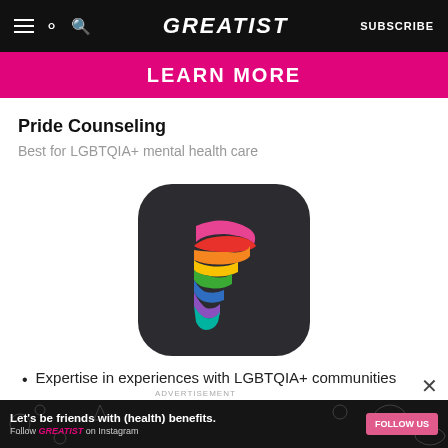GREATIST | SUBSCRIBE
[Figure (screenshot): Pink banner button with text LEARN MORE]
Pride Counseling
Best for LGBTQIA+ mental health care
[Figure (logo): Pride Counseling app icon: dark rounded square with rainbow-striped letter F]
Expertise in experiences with LGBTQIA+ communities
Variety of treatment approaches
ADVERTISEMENT
[Figure (infographic): Dark ad banner: Let's be friends with (health) benefits. Follow GREATIST on Instagram. FOLLOW US button.]